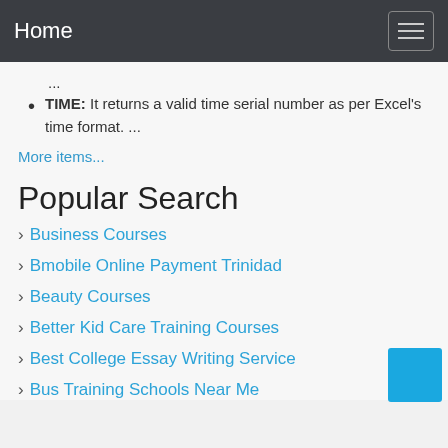Home
...
TIME: It returns a valid time serial number as per Excel's time format. ...
More items...
Popular Search
Business Courses
Bmobile Online Payment Trinidad
Beauty Courses
Better Kid Care Training Courses
Best College Essay Writing Service
Bus Training Schools Near Me